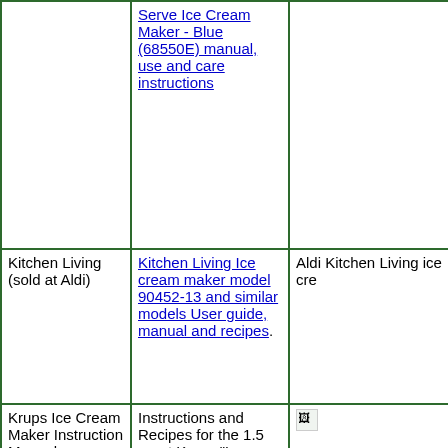|  | Serve Ice Cream Maker - Blue (68550E) manual, use and care instructions |  |
| Kitchen Living (sold at Aldi) | Kitchen Living Ice cream maker model 90452-13 and similar models User guide, manual and recipes. | [image: Aldi Kitchen Living ice cream maker] |
| Krups Ice Cream Maker Instruction Manual | Instructions and Recipes for the 1.5 quart Krups "La Glaciere" Ice Cream Maker Krups Ice Cream Maker Instruction | [image] |